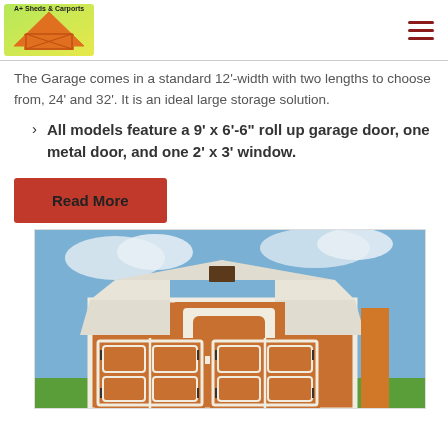A+ Sheds & Carports
The Garage comes in a standard 12'-width with two lengths to choose from, 24' and 32'. It is an ideal large storage solution.
All models feature a 9' x 6'-6" roll up garage door, one metal door, and one 2' x 3' window.
Read More
[Figure (photo): Photo of a wooden barn-style storage shed/garage with gambrel roof, white trim, double doors, and a window on the upper section, with green grass and blue sky in background.]